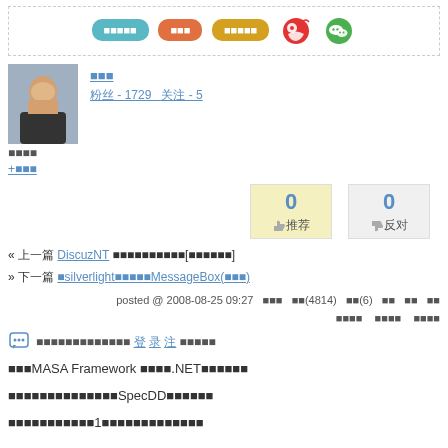[Figure (screenshot): Top navigation bar with colored rounded buttons (blue, orange, yellow) and social media icons (Weibo red, WeChat green) inside a dashed border box]
[Figure (photo): User profile photo of a young man in a dark jacket]
用户名 - 1729 粉丝 - 5
用户标签
+关注
[Figure (infographic): Vote buttons: 0 推荐 (yellow background) and 0 反对 (gray background)]
« 上一篇 DiscuzNT 发布说明及已知问题[持续更新中]
» 下一篇 用silverlight封装一个MessageBox(下篇)
posted @ 2008-08-25 09:27  用户名  阅读(4814)  评论(6)  编辑  收藏  举报  粉丝列表  联系我  博客园
评论列表  订阅评论  评论功能
评论框图标 评论内容文字 登录 注册 联系 管理员
关注MASA Framework 开源项目.NET生态系列文章
我们致力于通过开放标准SpecDD推动软件开发
测试项目已累计1年以上软件开发项目实践经验